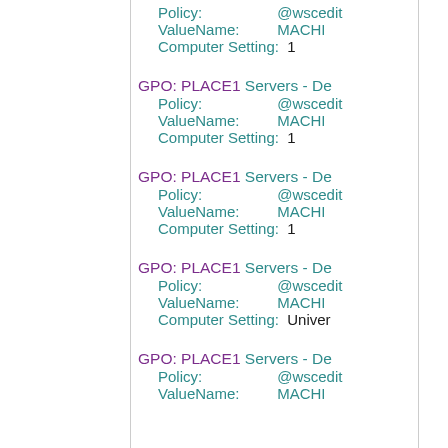Policy: @wscedit  ValueName: MACHI  Computer Setting: 1
GPO: PLACE1 Servers - De  Policy: @wscedit  ValueName: MACHI  Computer Setting: 1
GPO: PLACE1 Servers - De  Policy: @wscedit  ValueName: MACHI  Computer Setting: 1
GPO: PLACE1 Servers - De  Policy: @wscedit  ValueName: MACHI  Computer Setting: Univer
GPO: PLACE1 Servers - De  Policy: @wscedit  ValueName: MACHI